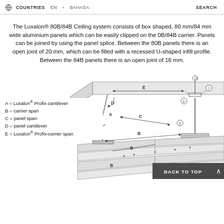COUNTRIES  EN ▪ BAHASA  SEARCH
The Luxalon® 80B/84B Ceiling system consists of box shaped, 80 mm/84 mm wide aluminium panels which can be easily clipped on the 0B/84B carrier. Panels can be joined by using the panel splice. Between the 80B panels there is an open joint of 20 mm, which can be filled with a recessed U-shaped infill profile. Between the 84B panels there is an open joint of 16 mm.
[Figure (engineering-diagram): Technical cross-section diagram of Luxalon 80B/84B ceiling system showing components labeled A through E and numbered 5,6,7,10. Shows Luxalon Profix cantilever (A), carrier span (B), panel span (C), panel cantilever (D), and Luxalon Profix-carrier span (E). Numbered parts include suspension hardware and carrier profiles.]
A = Luxalon® Profix cantilever
B = carrier span
C = panel span
D = panel cantilever
E = Luxalon® Profix-carrier span